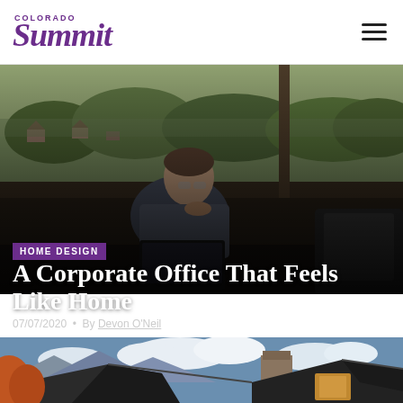Colorado Summit
[Figure (photo): Man sitting at a desk with a laptop in a modern office or home with large floor-to-ceiling windows overlooking a mountain valley landscape with trees and houses in the background]
HOME DESIGN
A Corporate Office That Feels Like Home
07/07/2020 • By Devon O'Neil
[Figure (photo): Exterior architectural photo showing dark metal roof lines of a modern mountain home against a blue sky with clouds and mountains visible in background, with autumn foliage visible]